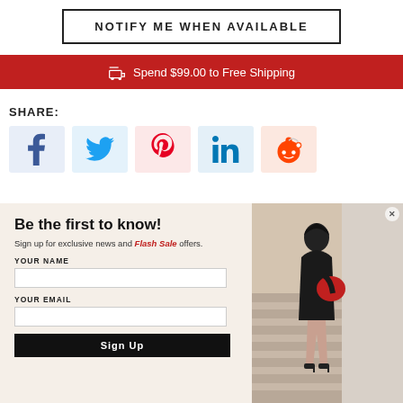NOTIFY ME WHEN AVAILABLE
Spend $99.00 to Free Shipping
SHARE:
[Figure (infographic): Social media share buttons: Facebook, Twitter, Pinterest, LinkedIn, Reddit]
Be the first to know!
Sign up for exclusive news and Flash Sale offers.
YOUR NAME
YOUR EMAIL
Sign Up
[Figure (photo): Woman in black dress carrying a red bag standing on stairs]